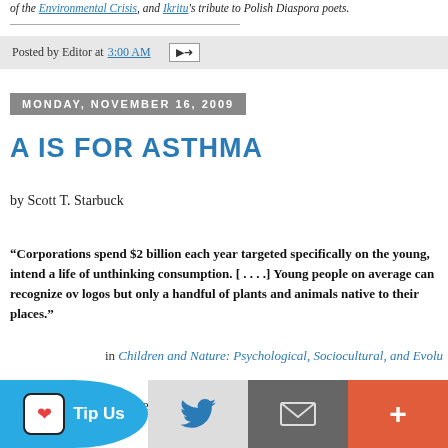of the Environmental Crisis, and Ikritu's tribute to Polish Diaspora poets.
Posted by Editor at 3:00 AM
MONDAY, NOVEMBER 16, 2009
A IS FOR ASTHMA
by Scott T. Starbuck
“Corporations spend $2 billion each year targeted specifically on the young, intend a life of unthinking consumption. [ . . . .] Young people on average can recognize ov logos but only a handful of plants and animals native to their places.”
in Children and Nature: Psychological, Sociocultural, and Evolu
Our goal was not to save the forest